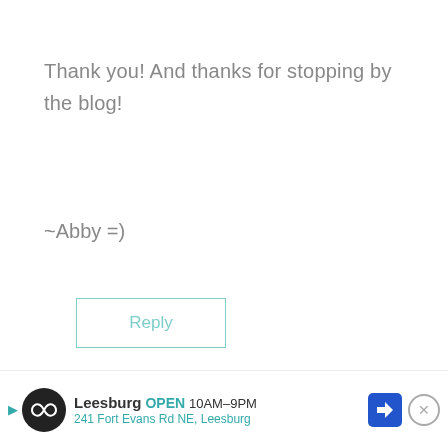Thank you! And thanks for stopping by the blog!
~Abby =)
Reply
Kim says:
Hi Abby,
[Figure (infographic): Advertisement banner: Leesburg store, OPEN 10AM-9PM, 241 Fort Evans Rd NE, Leesburg, with navigation arrow icon and close button]